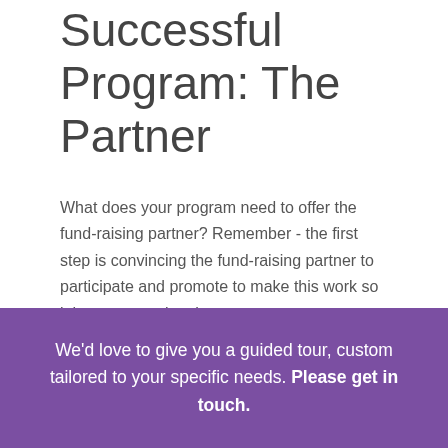Successful Program: The Partner
What does your program need to offer the fund-raising partner? Remember - the first step is convincing the fund-raising partner to participate and promote to make this work so it has to appeal to them.
We'd love to give you a guided tour, custom tailored to your specific needs. Please get in touch.